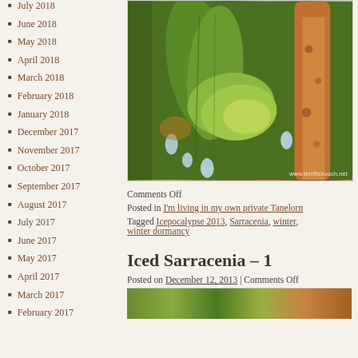July 2018
June 2018
May 2018
April 2018
March 2018
February 2018
January 2018
December 2017
November 2017
October 2017
September 2017
August 2017
July 2017
June 2017
May 2017
April 2017
March 2017
February 2017
[Figure (photo): Close-up photo of Sarracenia pitcher plants with ice droplets, green and orange coloring, watermarked www.terrifichooch.net]
Comments Off
Posted in I'm living in my own private Tanelorn
Tagged Icepocalypse 2013, Sarracenia, winter, winter dormancy
Iced Sarracenia – 1
Posted on December 12, 2013 | Comments Off
[Figure (photo): Bottom portion of another plant photo, partially visible]